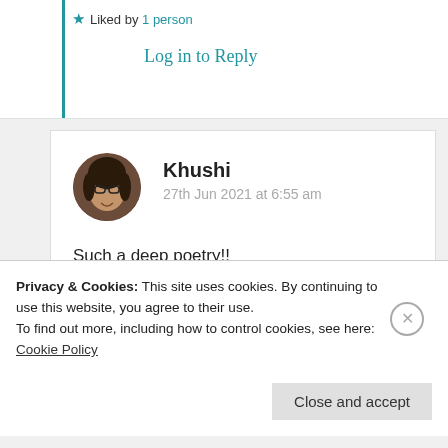★ Liked by 1 person
Log in to Reply
Khushi
27th Jun 2021 at 6:55 am
Such a deep poetry!!
★ Liked by 2 people
Log in to Reply
Privacy & Cookies: This site uses cookies. By continuing to use this website, you agree to their use. To find out more, including how to control cookies, see here: Cookie Policy
Close and accept